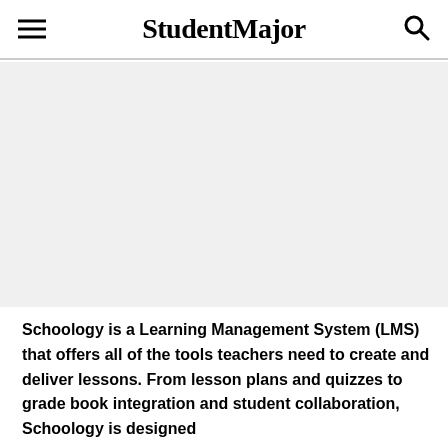StudentMajor
[Figure (photo): Image area placeholder for a Schoology-related photo or screenshot]
Schoology is a Learning Management System (LMS) that offers all of the tools teachers need to create and deliver lessons. From lesson plans and quizzes to grade book integration and student collaboration, Schoology is designed